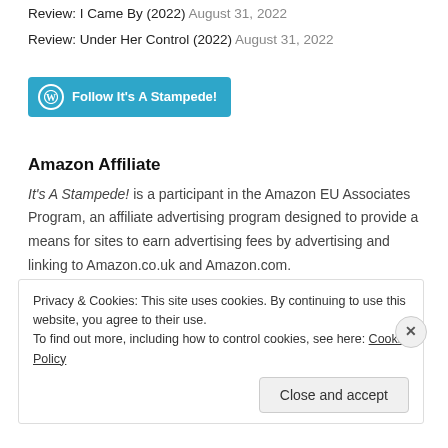Review: I Came By (2022) August 31, 2022
Review: Under Her Control (2022) August 31, 2022
[Figure (other): Follow It's A Stampede! WordPress follow button]
Amazon Affiliate
It's A Stampede! is a participant in the Amazon EU Associates Program, an affiliate advertising program designed to provide a means for sites to earn advertising fees by advertising and linking to Amazon.co.uk and Amazon.com.
Privacy & Cookies: This site uses cookies. By continuing to use this website, you agree to their use. To find out more, including how to control cookies, see here: Cookie Policy
Close and accept